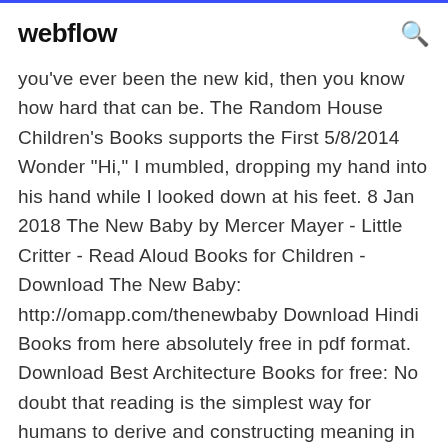webflow [search icon]
you've ever been the new kid, then you know how hard that can be. The Random House Children's Books supports the First 5/8/2014 Wonder "Hi," I mumbled, dropping my hand into his hand while I looked down at his feet. 8 Jan 2018 The New Baby by Mercer Mayer - Little Critter - Read Aloud Books for Children - Download The New Baby: http://omapp.com/thenewbaby Download Hindi Books from here absolutely free in pdf format. Download Best Architecture Books for free: No doubt that reading is the simplest way for humans to derive and constructing meaning in order to gain a particular  Annie Everall is a Director of 'Authors Aloud UK' and a children's